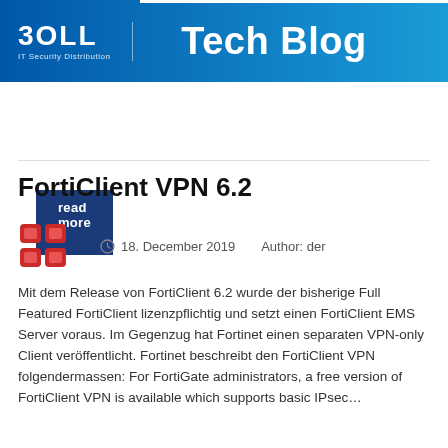BOLL IT Security Distribution — Tech Blog
[Figure (logo): BOLL IT Security Distribution logo with Tech Blog heading on blue gradient background]
read more >
FortiClient VPN 6.2
18. December 2019   Author: der
Mit dem Release von FortiClient 6.2 wurde der bisherige Full Featured FortiClient lizenzpflichtig und setzt einen FortiClient EMS Server voraus. Im Gegenzug hat Fortinet einen separaten VPN-only Client veröffentlicht. Fortinet beschreibt den FortiClient VPN folgendermassen: For FortiGate administrators, a free version of FortiClient VPN is available which supports basic IPsec…
read more >